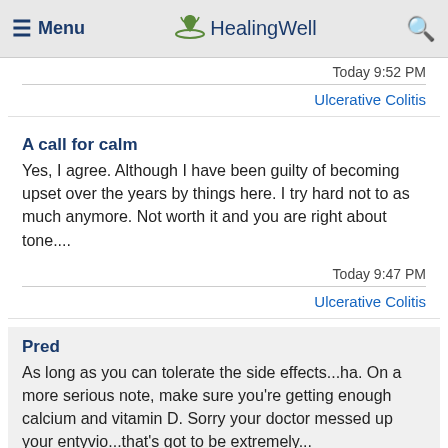≡ Menu  HealingWell  🔍
Today 9:52 PM
Ulcerative Colitis
A call for calm
Yes, I agree. Although I have been guilty of becoming upset over the years by things here. I try hard not to as much anymore. Not worth it and you are right about tone....
Today 9:47 PM
Ulcerative Colitis
Pred
As long as you can tolerate the side effects...ha. On a more serious note, make sure you're getting enough calcium and vitamin D. Sorry your doctor messed up your entyvio...that's got to be extremely...
Today 9:44 PM